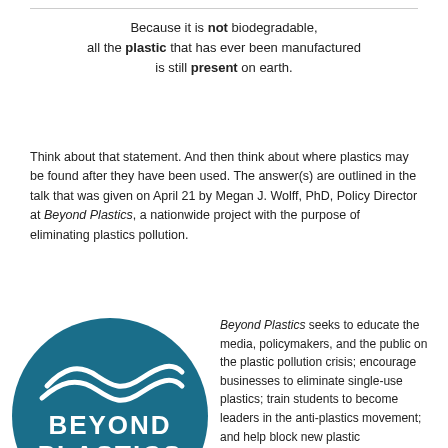Because it is not biodegradable, all the plastic that has ever been manufactured is still present on earth.
Think about that statement. And then think about where plastics may be found after they have been used. The answer(s) are outlined in the talk that was given on April 21 by Megan J. Wolff, PhD, Policy Director at Beyond Plastics, a nationwide project with the purpose of eliminating plastics pollution.
[Figure (logo): Beyond Plastics Bennington College circular logo — dark teal circle with white wave design and white text reading BEYOND PLASTICS with BENNINGTON COLLEGE below a horizontal rule]
Beyond Plastics seeks to educate the media, policymakers, and the public on the plastic pollution crisis; encourage businesses to eliminate single-use plastics; train students to become leaders in the anti-plastics movement; and help block new plastic manufacturing